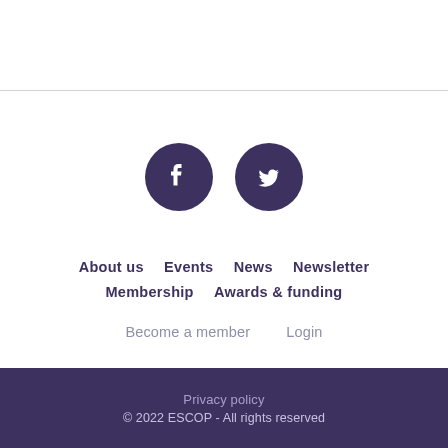[Figure (illustration): Two social media icon circles side by side: a Facebook icon (f) and a Twitter icon (bird), both dark purple on white background]
About us   Events   News   Newsletter
Membership   Awards & funding
Become a member   Login
Privacy policy
© 2022 ESCOP - All rights reserved